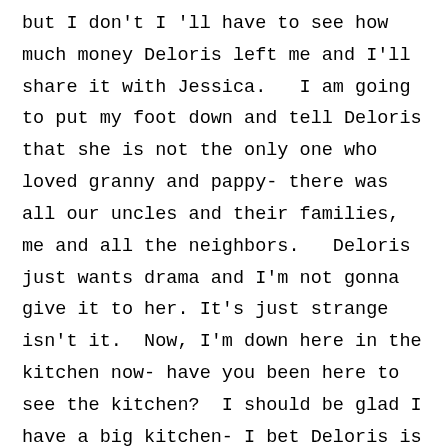but I don't I 'll have to see how much money Deloris left me and I'll share it with Jessica.   I am going to put my foot down and tell Deloris that she is not the only one who loved granny and pappy- there was all our uncles and their families, me and all the neighbors.   Deloris just wants drama and I'm not gonna give it to her. It's just strange isn't it.  Now, I'm down here in the kitchen now- have you been here to see the kitchen?  I should be glad I have a big kitchen- I bet Deloris is paying for me to be here.   I don't want to be kicked out.  You should be allowed to do what you can for yourself for as long as you can- it makes you feel